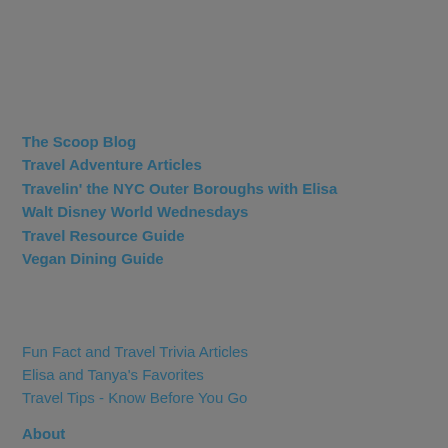The Scoop Blog
Travel Adventure Articles
Travelin' the NYC Outer Boroughs with Elisa
Walt Disney World Wednesdays
Travel Resource Guide
Vegan Dining Guide
Fun Fact and Travel Trivia Articles
Elisa and Tanya's Favorites
Travel Tips - Know Before You Go
About